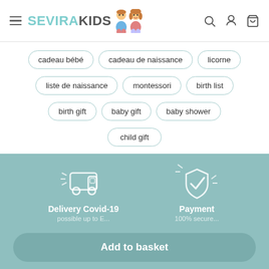[Figure (logo): Sevira Kids logo with cartoon children illustration and hamburger menu icon]
cadeau bébé
cadeau de naissance
licorne
liste de naissance
montessori
birth list
birth gift
baby gift
baby shower
child gift
[Figure (illustration): Delivery truck icon with sparkle lines on teal background]
Delivery Covid-19
[Figure (illustration): Shield with checkmark icon with sparkle lines on teal background]
Payment
Add to basket